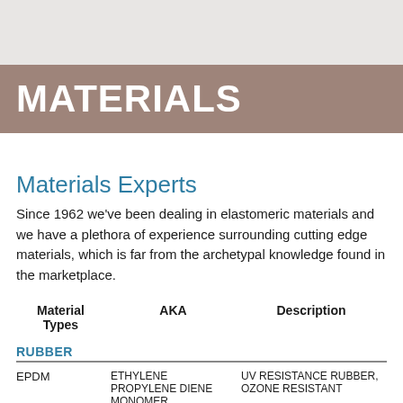MATERIALS
Materials Experts
Since 1962 we've been dealing in elastomeric materials and we have a plethora of experience surrounding cutting edge materials, which is far from the archetypal knowledge found in the marketplace.
| Material Types | AKA | Description |
| --- | --- | --- |
| RUBBER |  |  |
| EPDM | ETHYLENE PROPYLENE DIENE MONOMER | UV RESISTANCE RUBBER, OZONE RESISTANT |